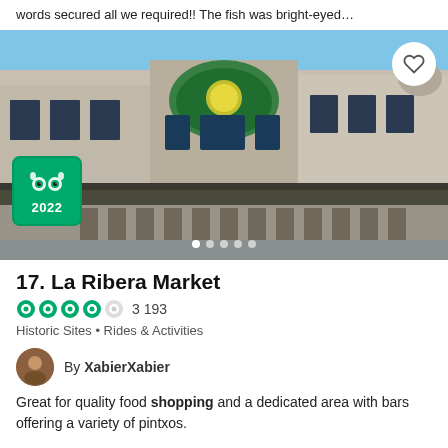words secured all we required!! The fish was bright-eyed…
[Figure (photo): Exterior photograph of La Ribera Market building with ornate early 20th-century architecture, blue sky, and TripAdvisor 2022 Travelers' Choice badge overlay]
17. La Ribera Market
3 193
Historic Sites • Rides & Activities
By XabierXabier
Great for quality food shopping and a dedicated area with bars offering a variety of pintxos.